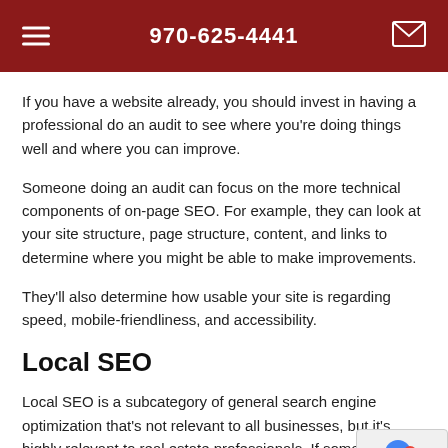970-625-4441
If you have a website already, you should invest in having a professional do an audit to see where you're doing things well and where you can improve.
Someone doing an audit can focus on the more technical components of on-page SEO. For example, they can look at your site structure, page structure, content, and links to determine where you might be able to make improvements.
They'll also determine how usable your site is regarding speed, mobile-friendliness, and accessibility.
Local SEO
Local SEO is a subcategory of general search engine optimization that's not relevant to all businesses, but it's highly relevant to real estate professionals. If someone has an online-